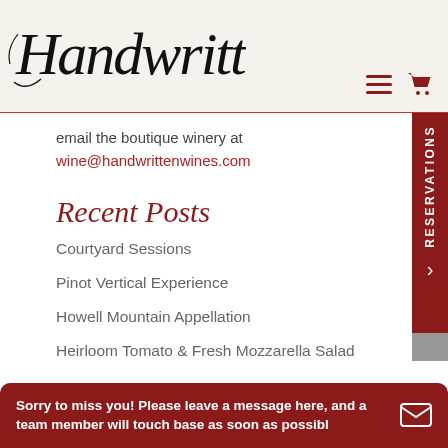[Figure (logo): Handwritten Wines script logo in black cursive/calligraphy style]
email the boutique winery at
wine@handwrittenwines.com
Recent Posts
Courtyard Sessions
Pinot Vertical Experience
Howell Mountain Appellation
Heirloom Tomato & Fresh Mozzarella Salad
Sorry to miss you! Please leave a message here, and a team member will touch base as soon as possibl